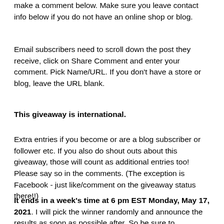make a comment below. Make sure you leave contact info below if you do not have an online shop or blog.
Email subscribers need to scroll down the post they receive, click on Share Comment and enter your comment. Pick Name/URL. If you don't have a store or blog, leave the URL blank.
This giveaway is international.
Extra entries if you become or are a blog subscriber or follower etc. If you also do shout outs about this giveaway, those will count as additional entries too! Please say so in the comments. (The exception is Facebook - just like/comment on the giveaway status there!!)
It ends in a week’s time at 6 pm EST Monday, May 17, 2021. I will pick the winner randomly and announce the results as soon as possible after. So be sure to